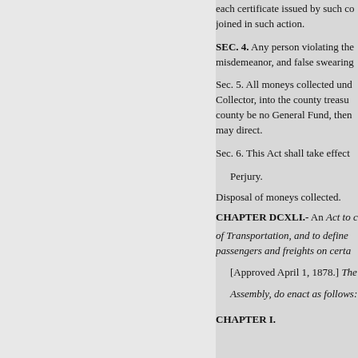each certificate issued by such co joined in such action.
SEC. 4. Any person violating the misdemeanor, and false swearing
Sec. 5. All moneys collected und Collector, into the county treasu county be no General Fund, then may direct.
Sec. 6. This Act shall take effect
Perjury.
Disposal of moneys collected.
CHAPTER DCXLI.- An Act to c of Transportation, and to define passengers and freights on certa
[Approved April 1, 1878.] The Assembly, do enact as follows:
CHAPTER I.